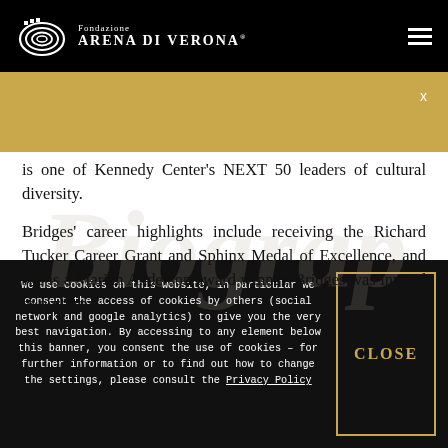Fondazione ARENA DI VERONA
is one of Kennedy Center's NEXT 50 leaders of cultural diversity.
Bridges' career highlights include receiving the Richard Tucker Career Grant and Sphinx Medal of Excellence, and she is a Marian Anderson award winner. Bridges was invited to perform
We use cookies on this website, in particular we consent the access of cookies by others (social network and google analytics) to give you the very best navigation. By accessing to any element below this banner, you consent the use of cookies – for further information or to find out how to change the settings, please consult the Privacy Policy